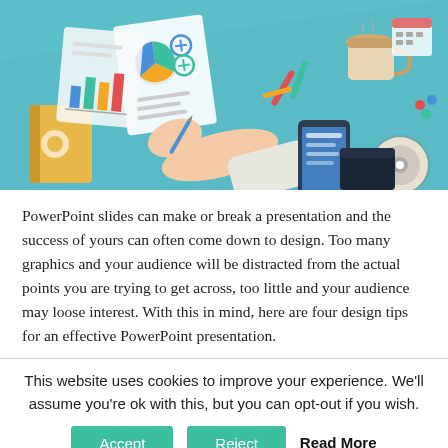[Figure (illustration): Flat design illustration of a business desk scene viewed from above, showing hands writing on paper with charts, a pie chart document, a smartphone, a coffee cup, a yellow book, a CD, a calendar, and office supplies on a teal/blue background.]
PowerPoint slides can make or break a presentation and the success of yours can often come down to design. Too many graphics and your audience will be distracted from the actual points you are trying to get across, too little and your audience may loose interest. With this in mind, here are four design tips for an effective PowerPoint presentation.
This website uses cookies to improve your experience. We'll assume you're ok with this, but you can opt-out if you wish.